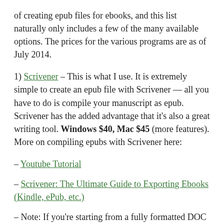of creating epub files for ebooks, and this list naturally only includes a few of the many available options. The prices for the various programs are as of July 2014.
1) Scrivener – This is what I use. It is extremely simple to create an epub file with Scrivener — all you have to do is compile your manuscript as epub. Scrivener has the added advantage that it's also a great writing tool. Windows $40, Mac $45 (more features). More on compiling epubs with Scrivener here:
– Youtube Tutorial
– Scrivener: The Ultimate Guide to Exporting Ebooks (Kindle, ePub, etc.)
– Note: If you're starting from a fully formatted DOC or DOCX file, rather than a file you have been writing in Scrivener, you need to divide the file up into sections at each chapter (Ctrl+K) and make sure the compile options in the meta-data pane are